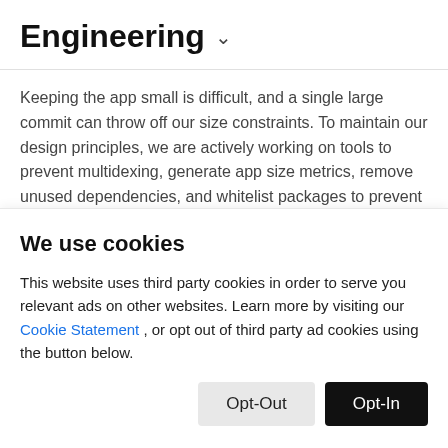Engineering ˅
Keeping the app small is difficult, and a single large commit can throw off our size constraints. To maintain our design principles, we are actively working on tools to prevent multidexing, generate app size metrics, remove unused dependencies, and whitelist packages to prevent
We use cookies
This website uses third party cookies in order to serve you relevant ads on other websites. Learn more by visiting our Cookie Statement , or opt out of third party ad cookies using the button below.
Opt-Out   Opt-In